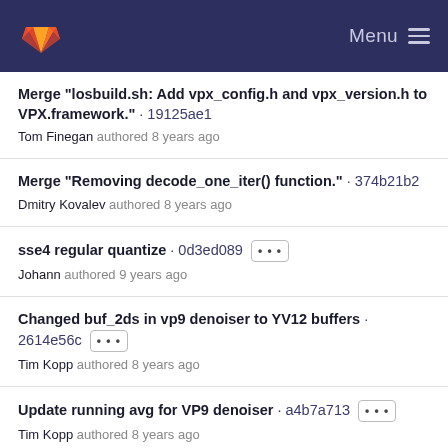GitLab — Menu
Merge "losbuild.sh: Add vpx_config.h and vpx_version.h to VPX.framework." · 19125ae1
Tom Finegan authored 8 years ago
Merge "Removing decode_one_iter() function." · 374b21b2
Dmitry Kovalev authored 8 years ago
sse4 regular quantize · 0d3ed089 ···
Johann authored 9 years ago
Changed buf_2ds in vp9 denoiser to YV12 buffers · 2614e56c ···
Tim Kopp authored 8 years ago
Update running avg for VP9 denoiser · a4b7a713 ···
Tim Kopp authored 8 years ago
Implemented vp9_denoiser_{alloc,free}() · 2a720673 ···
Tim Kopp authored 8 years ago